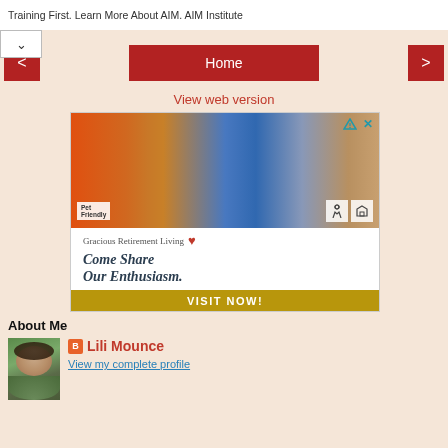Training First. Learn More About AIM. AIM Institute
[Figure (screenshot): Navigation bar with back arrow, Home button, and forward arrow on pinkish-beige background]
View web version
[Figure (photo): Advertisement for Gracious Retirement Living showing a woman painting with tulips, with text 'Come Share Our Enthusiasm.' and a 'VISIT NOW!' call to action button]
About Me
[Figure (photo): Profile photo of Lili Mounce, a woman with dark hair]
Lili Mounce
View my complete profile